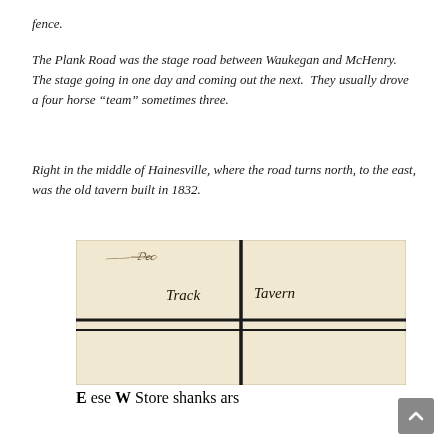fence.
The Plank Road was the stage road between Waukegan and McHenry. The stage going in one day and coming out the next. They usually drove a four horse “team” sometimes three.
Right in the middle of Hainesville, where the road turns north, to the east, was the old tavern built in 1832.
[Figure (photo): A historical hand-drawn map excerpt showing a crossroads intersection with labels including 'Track', 'Tavern', 'E', 'W', 'Store', 'shanks', 'ars', 'ese' written in cursive script on aged paper.]